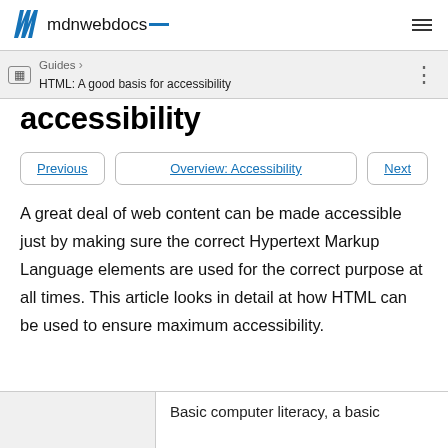mdn web docs
Guides > HTML: A good basis for accessibility
accessibility
Previous | Overview: Accessibility | Next
A great deal of web content can be made accessible just by making sure the correct Hypertext Markup Language elements are used for the correct purpose at all times. This article looks in detail at how HTML can be used to ensure maximum accessibility.
Basic computer literacy, a basic